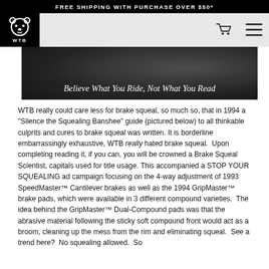FREE SHIPPING WITH PURCHASE OVER $50*
[Figure (logo): WTB logo — stylized bear head with 'WTB' text below, white on black background]
[Figure (photo): Black and white photo background with italic text overlay reading 'Believe What You Ride, Not What You Read']
WTB really could care less for brake squeal, so much so, that in 1994 a "Silence the Squealing Banshee" guide (pictured below) to all thinkable culprits and cures to brake squeal was written. It is borderline embarrassingly exhaustive, WTB really hated brake squeal.  Upon completing reading it, if you can, you will be crowned a Brake Squeal Scientist, capitals used for title usage. This accompanied a STOP YOUR SQUEALING ad campaign focusing on the 4-way adjustment of 1993 SpeedMaster™ Cantilever brakes as well as the 1994 GripMaster™ brake pads, which were available in 3 different compound varieties.  The idea behind the GripMaster™ Dual-Compound pads was that the abrasive material following the sticky soft compound front would act as a broom, cleaning up the mess from the rim and eliminating squeal.  See a trend here?  No squealing allowed.  So